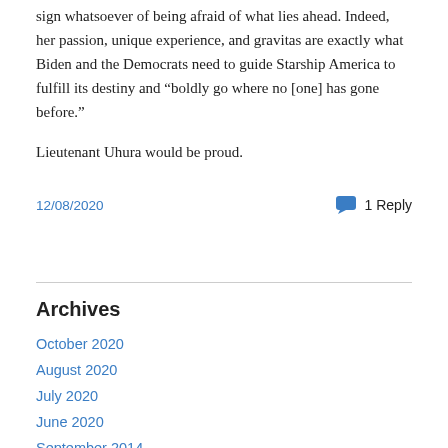sign whatsoever of being afraid of what lies ahead. Indeed, her passion, unique experience, and gravitas are exactly what Biden and the Democrats need to guide Starship America to fulfill its destiny and “boldly go where no [one] has gone before.”
Lieutenant Uhura would be proud.
12/08/2020
1 Reply
Archives
October 2020
August 2020
July 2020
June 2020
September 2014